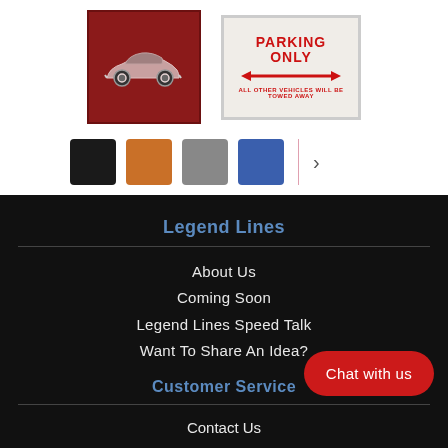[Figure (photo): Dark red background with a white line-art silhouette of a classic sports car (convertible)]
[Figure (photo): Parking Only sign — white/cream background with red bold text 'PARKING ONLY', red double-headed arrow, and smaller text 'ALL OTHER VEHICLES WILL BE TOWED AWAY']
[Figure (other): Color swatches: black, orange, gray, blue squares with a vertical pink divider and a right chevron arrow]
Legend Lines
About Us
Coming Soon
Legend Lines Speed Talk
Want To Share An Idea?
Customer Service
[Figure (other): Red rounded rectangle button with white text 'Chat with us']
Contact Us